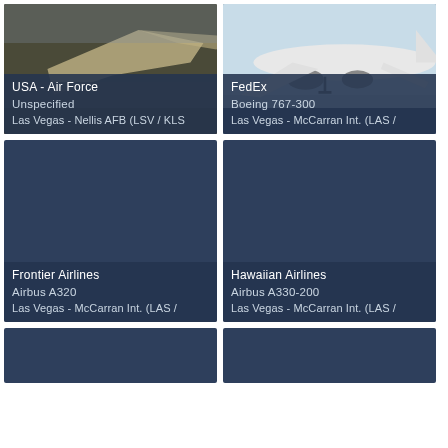[Figure (photo): Fighter jet (USA - Air Force) in flight over rocky terrain, Las Vegas Nellis AFB]
USA - Air Force
Unspecified
Las Vegas - Nellis AFB (LSV / KLS
[Figure (photo): FedEx Boeing 767-300 aircraft on approach, Las Vegas McCarran Int.]
FedEx
Boeing 767-300
Las Vegas - McCarran Int. (LAS /
[Figure (photo): Frontier Airlines Airbus A320 - dark/no image loaded, Las Vegas McCarran Int.]
Frontier Airlines
Airbus A320
Las Vegas - McCarran Int. (LAS /
[Figure (photo): Hawaiian Airlines Airbus A330-200 - dark/no image loaded, Las Vegas McCarran Int.]
Hawaiian Airlines
Airbus A330-200
Las Vegas - McCarran Int. (LAS /
[Figure (photo): Bottom left card - partially visible, dark background]
[Figure (photo): Bottom right card - partially visible, dark background]